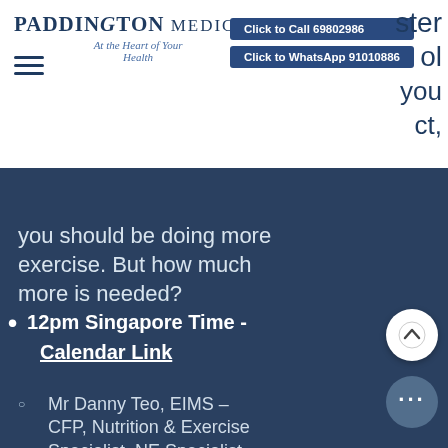PADDINGTON MEDICAL — At the Heart of Your Health
Click to Call 69802986
Click to WhatsApp 91010886
you should be doing more exercise. But how much more is needed?
12pm Singapore Time - Calendar Link
Mr Danny Teo, EIMS – CFP, Nutrition & Exercise Specialist, NE Specialist
Topic: Trends in Nutrition — Plant-based diet
Synopsis: Find pro and cons in getting into a plant-based diet